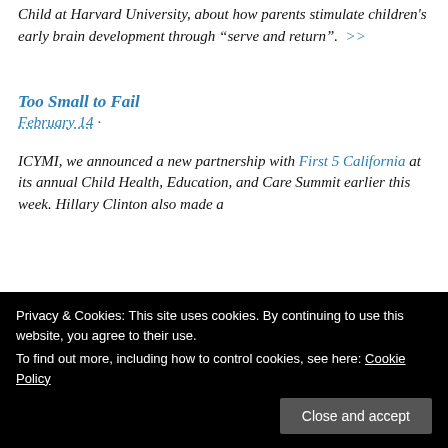Child at Harvard University, about how parents stimulate children's early brain development through "serve and return". >>
Too Small to Fail
February 14 ·
ICYMI, we announced a new partnership with First 5 California at its annual Child Health, Education, and Care Summit earlier this week. Hillary Clinton also made a
Privacy & Cookies: This site uses cookies. By continuing to use this website, you agree to their use. To find out more, including how to control cookies, see here: Cookie Policy